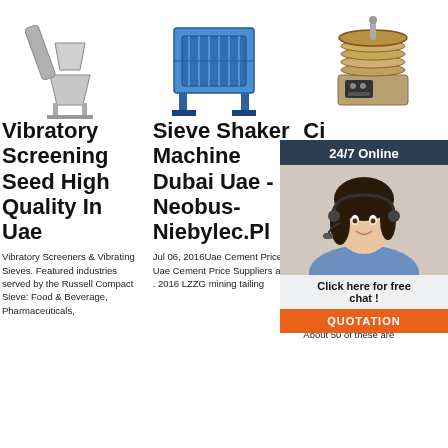[Figure (photo): Vibratory screening machine product image (funnel/screw feeder type)]
[Figure (photo): Sieve shaker machine product image (large blue industrial unit)]
[Figure (photo): Circular vibrating screen product image (lab sieve shaker)]
Vibratory Screening Seed High Quality In Uae
Sieve Shaker Machine Dubai Uae - Neobus-Niebylec.Pl
Circular Vibrating Screen Uae, Vibrating Screen Mining ...
Vibratory Screeners & Vibrating Sieves. Featured industries served by the Russell Compact Sieve: Food & Beverage, Pharmaceuticals,
Jul 06, 2016Uae Cement Price, Uae Cement Price Suppliers and . 2016 LZZG mining tailing
Vibrating Screen Zhengzhou Huahong Heavy Equipment. About 50 of these are
[Figure (infographic): 24/7 Online chat widget with female customer service agent, Click here for free chat, and QUOTATION button]